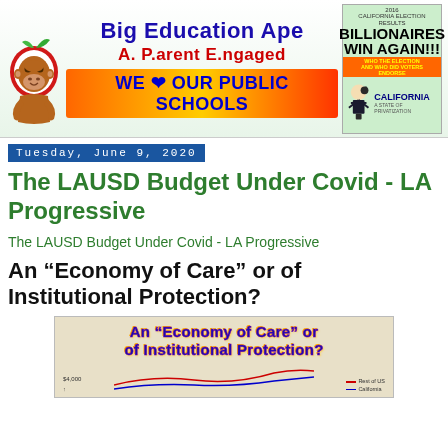[Figure (logo): Big Education Ape banner with orangutan mascot on red apple, blue/red text, orange/yellow gradient bar with WE LOVE OUR PUBLIC SCHOOLS, and California Election Results Billionaires Win Again side image]
Tuesday, June 9, 2020
The LAUSD Budget Under Covid - LA Progressive
The LAUSD Budget Under Covid - LA Progressive
An “Economy of Care” or of Institutional Protection?
[Figure (screenshot): Preview image showing article title 'An Economy of Care or of Institutional Protection?' in blue outlined text on tan background, with a partial chart below showing $4,000 label on y-axis and a legend with red and blue lines]